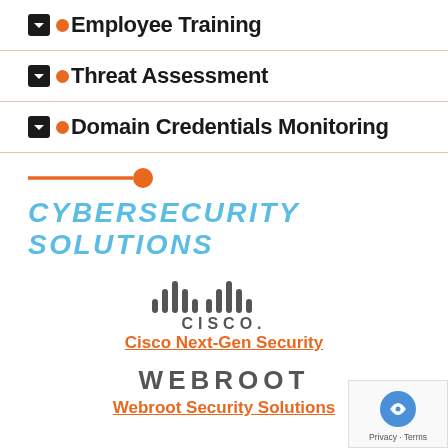Employee Training
Threat Assessment
Domain Credentials Monitoring
CYBERSECURITY SOLUTIONS
[Figure (logo): Cisco logo with bar chart icon and CISCO wordmark]
Cisco Next-Gen Security
[Figure (logo): WEBROOT wordmark in bold gray letters]
Webroot Security Solutions